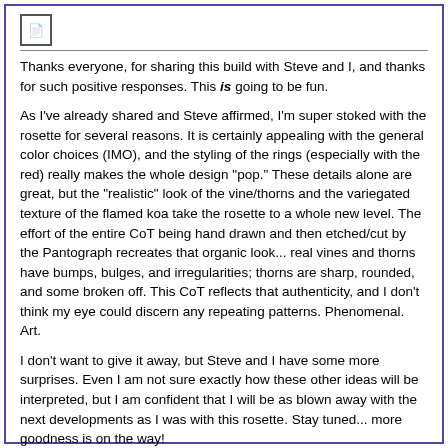[Figure (other): Small document/notepad icon in top left corner]
Thanks everyone, for sharing this build with Steve and I, and thanks for such positive responses. This is going to be fun.
As I've already shared and Steve affirmed, I'm super stoked with the rosette for several reasons. It is certainly appealing with the general color choices (IMO), and the styling of the rings (especially with the red) really makes the whole design "pop." These details alone are great, but the "realistic" look of the vine/thorns and the variegated texture of the flamed koa take the rosette to a whole new level. The effort of the entire CoT being hand drawn and then etched/cut by the Pantograph recreates that organic look... real vines and thorns have bumps, bulges, and irregularities; thorns are sharp, rounded, and some broken off. This CoT reflects that authenticity, and I don't think my eye could discern any repeating patterns. Phenomenal. Art.
I don't want to give it away, but Steve and I have some more surprises. Even I am not sure exactly how these other ideas will be interpreted, but I am confident that I will be as blown away with the next developments as I was with this rosette. Stay tuned... more goodness is on the way!
Jeff
Edwinson EPS "iCrucified" [2011]
Edwinson Consort "Spirit" [2016]
TUGCo. 000 Concert "Chi Rho" [2019]